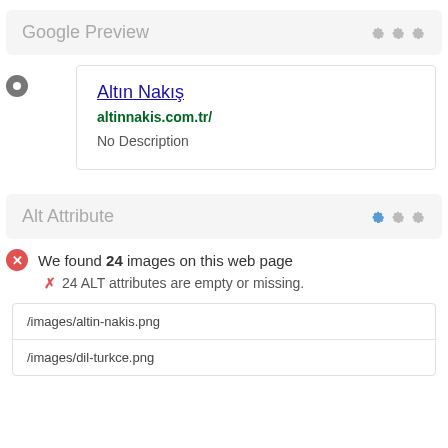Google Preview
Altın Nakış
altinnakis.com.tr/
No Description
Alt Attribute
We found 24 images on this web page
✗ 24 ALT attributes are empty or missing.
| /images/altin-nakis.png |
| /images/dil-turkce.png |